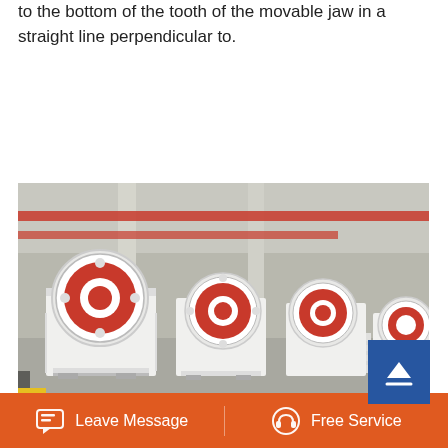to the bottom of the tooth of the movable jaw in a straight line perpendicular to.
Learn More
[Figure (photo): Industrial warehouse showing multiple large jaw crusher machines painted white with red flywheels, lined up on a concrete floor inside a large factory building with steel structure visible in background.]
Leave Message   Free Service